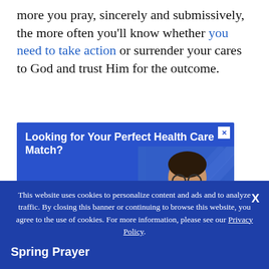more you pray, sincerely and submissively, the more often you'll know whether you need to take action or surrender your cares to God and trust Him for the outcome.
[Figure (other): Advertisement banner with blue background. Headline: 'Looking for Your Perfect Health Care Match?' Subtext in orange: 'Health Care Programs Start at just $69.99 a Month!' with a photo of a smiling man with glasses on the right side. Close button (X) in top right.]
This website uses cookies to personalize content and ads and to analyze traffic. By closing this banner or continuing to browse this website, you agree to the use of cookies. For more information, please see our Privacy Policy.
Spring Prayer